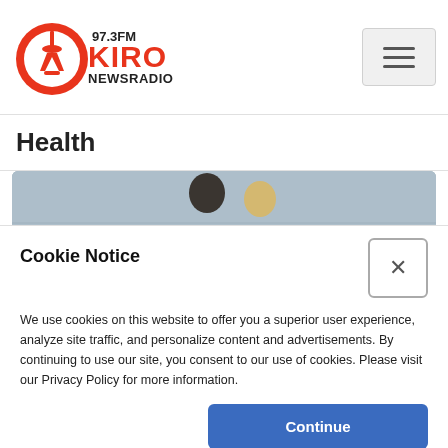97.3FM KIRO NEWSRADIO
Health
[Figure (photo): Two people viewed from behind looking out at a grey sky, one in a grey jacket with dark hair, one with blonde hair]
Cookie Notice
We use cookies on this website to offer you a superior user experience, analyze site traffic, and personalize content and advertisements. By continuing to use our site, you consent to our use of cookies. Please visit our Privacy Policy for more information.
Continue